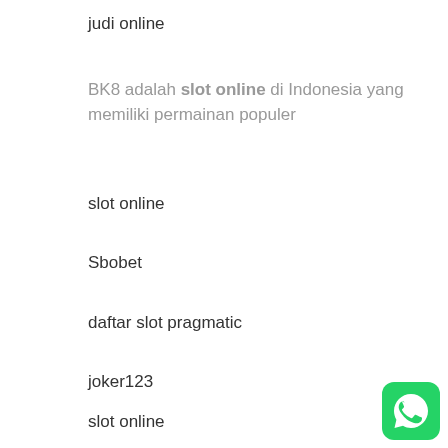judi online
BK8 adalah slot online di Indonesia yang memiliki permainan populer
slot online
Sbobet
daftar slot pragmatic
joker123
slot online
[Figure (logo): WhatsApp logo icon — green rounded square with white phone handset speech bubble]